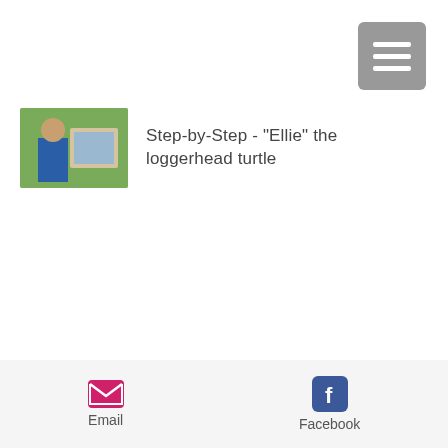[Figure (screenshot): Hamburger menu button (three horizontal bars) in gray rounded square, top right corner]
Step-by-Step - "Ellie" the loggerhead turtle
Inspirational Art Quotes
Torrential rain and gale force winds
Email   Facebook